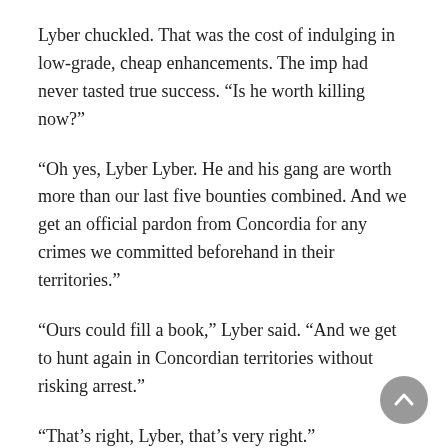Lyber chuckled. That was the cost of indulging in low-grade, cheap enhancements. The imp had never tasted true success. “Is he worth killing now?”
“Oh yes, Lyber Lyber. He and his gang are worth more than our last five bounties combined. And we get an official pardon from Concordia for any crimes we committed beforehand in their territories.”
“Ours could fill a book,” Lyber said. “And we get to hunt again in Concordian territories without risking arrest.”
“That’s right, Lyber, that’s very right.”
Not that it ever stopped them. The duo had slaughtered so many ‘collateral victims’ authorities often wondered who they had been hired to kill in the first place.